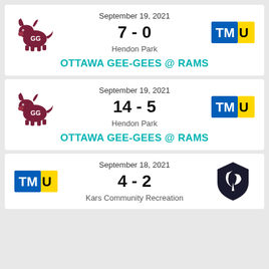September 19, 2021
7 - 0
Hendon Park
OTTAWA GEE-GEES @ RAMS
September 19, 2021
14 - 5
Hendon Park
OTTAWA GEE-GEES @ RAMS
September 18, 2021
4 - 2
Kars Community Recreation